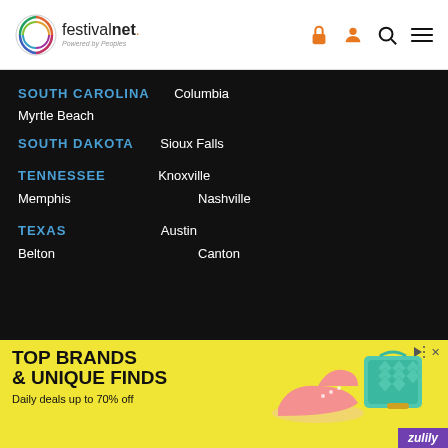festivalnet. Powered by Peoples
SOUTH CAROLINA
Columbia
Myrtle Beach
SOUTH DAKOTA
Sioux Falls
TENNESSEE
Knoxville
Memphis
Nashville
TEXAS
Austin
Belton
Canton
[Figure (infographic): Zulily advertisement: TOP BRANDS & UNIQUE FINDS. Daily deals up to 70% off. Yellow background with shoes and handbag images.]